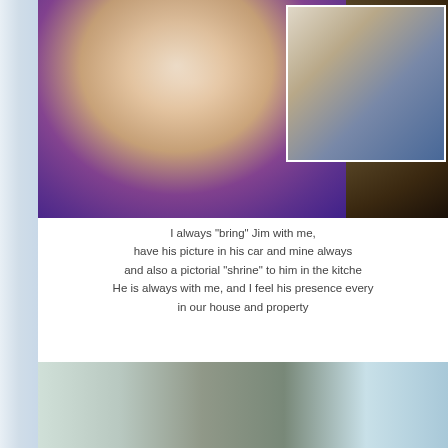[Figure (photo): A woman with short blonde hair and dark-rimmed glasses wearing a purple top, smiling and holding up a photograph of an elderly man at a birthday table with a candle.]
I always "bring" Jim with me, have his picture in his car and mine always and also a pictorial "shrine" to him in the kitche He is always with me, and I feel his presence every in our house and property
[Figure (photo): A kitchen counter with various bottles, a coffee maker, and teal/blue artwork partially visible on the right side.]